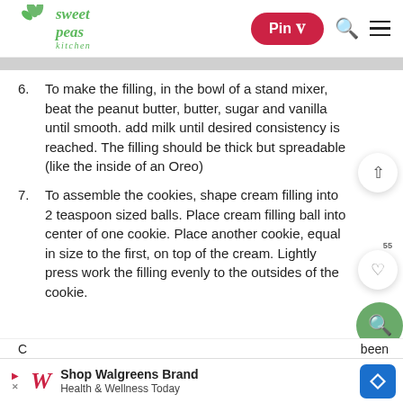Sweet Peas Kitchen — Pin | Search | Menu
6. To make the filling, in the bowl of a stand mixer, beat the peanut butter, butter, sugar and vanilla until smooth. add milk until desired consistency is reached. The filling should be thick but spreadable (like the inside of an Oreo)
7. To assemble the cookies, shape cream filling into 2 teaspoon sized balls. Place cream filling ball into center of one cookie. Place another cookie, equal in size to the first, on top of the cream. Lightly press work the filling evenly to the outsides of the cookie.
C... been sa...
[Figure (screenshot): Walgreens advertisement banner: Shop Walgreens Brand Health & Wellness Today]